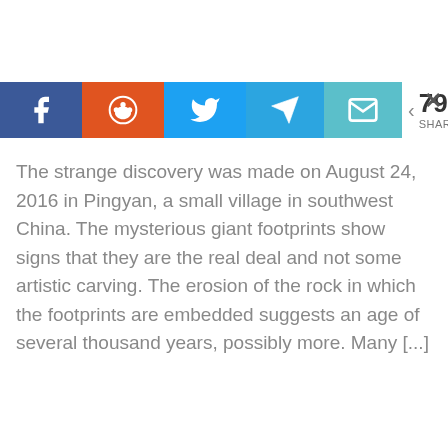[Figure (screenshot): Social media share bar with Facebook (blue), Reddit (orange-red), Twitter (blue), Telegram (blue), Email (teal) buttons, and a share count showing 793 SHARES with a close X button]
The strange discovery was made on August 24, 2016 in Pingyan, a small village in southwest China. The mysterious giant footprints show signs that they are the real deal and not some artistic carving. The erosion of the rock in which the footprints are embedded suggests an age of several thousand years, possibly more. Many [...]